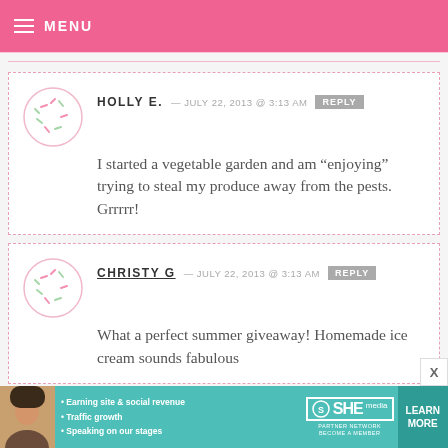MENU
HOLLY E. — JULY 22, 2013 @ 3:13 AM  REPLY
I started a vegetable garden and am “enjoying” trying to steal my produce away from the pests. Grrrrr!
CHRISTY G — JULY 22, 2013 @ 3:13 AM  REPLY
What a perfect summer giveaway! Homemade ice cream sounds fabulous
[Figure (infographic): SHE Partner Network advertisement banner with photo of woman, bullet points about earning site & social revenue, traffic growth, speaking on our stages, SHE logo, and LEARN MORE button]